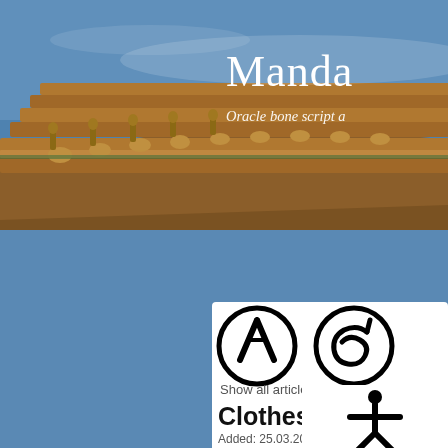[Figure (photo): Traditional Chinese temple roof with ornate tiles and figurines against a blue sky background]
Manda
Oracle bone script a
All articles
Youtube
About me
Contact
Links
« Previous
[Figure (illustration): Two circular oracle bone script characters - one showing a person figure (人) and one partially visible]
Show all articles
Clothes for Ada
Added: 25.03.2021 - Read: 85149
[Figure (illustration): Oracle bone script character showing a human figure with outstretched arms]
[Figure (illustration): Sidebar icon showing an oracle bone script character in a circle]
A lamb had to die
Most of the animals are clearly depicted in the oracle bones. Below the oracle bones for dog, elephant, rat, tiger, horse and...